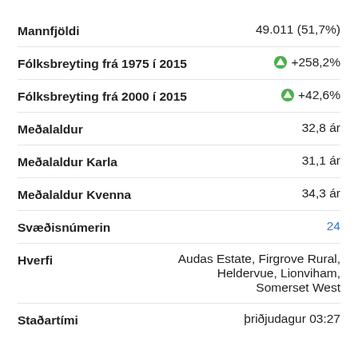Mannfjöldi: 49.011 (51,7%)
Fólksbreyting frá 1975 í 2015: +258,2%
Fólksbreyting frá 2000 í 2015: +42,6%
Meðalaldur: 32,8 ár
Meðalaldur Karla: 31,1 ár
Meðalaldur Kvenna: 34,3 ár
Svæðisnúmerin: 24
Hverfi: Audas Estate, Firgrove Rural, Heldervue, Lionviham, Somerset West
Staðartími: þriðjudagur 03:27